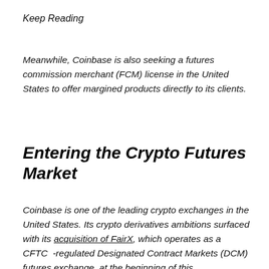Keep Reading
Meanwhile, Coinbase is also seeking a futures commission merchant (FCM) license in the United States to offer margined products directly to its clients.
Entering the Crypto Futures Market
Coinbase is one of the leading crypto exchanges in the United States. Its crypto derivatives ambitions surfaced with its acquisition of FairX, which operates as a CFTC -regulated Designated Contract Markets (DCM) futures exchange, at the beginning of this...